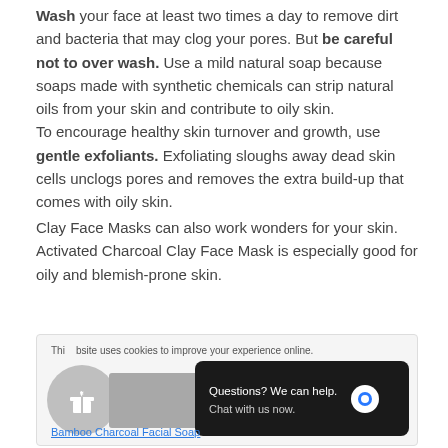Wash your face at least two times a day to remove dirt and bacteria that may clog your pores. But be careful not to over wash. Use a mild natural soap because soaps made with synthetic chemicals can strip natural oils from your skin and contribute to oily skin.
To encourage healthy skin turnover and growth, use gentle exfoliants. Exfoliating sloughs away dead skin cells unclogs pores and removes the extra build-up that comes with oily skin.
Clay Face Masks can also work wonders for your skin. Activated Charcoal Clay Face Mask is especially good for oily and blemish-prone skin.
[Figure (screenshot): Cookie/chat popup overlay showing a cookie consent notice, a gift icon, a gray product image placeholder, a dark chat bubble saying 'Questions? We can help. Chat with us now.' with a blue chat icon, and a 'Bamboo Charcoal Facial Soap' link at the bottom.]